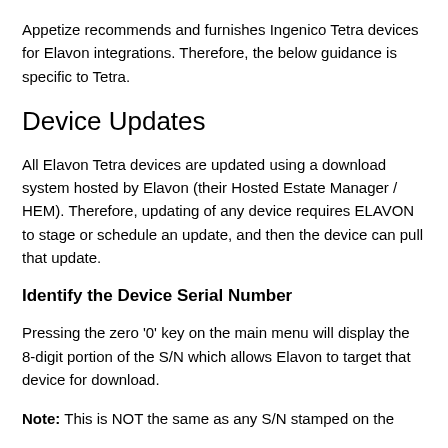Appetize recommends and furnishes Ingenico Tetra devices for Elavon integrations. Therefore, the below guidance is specific to Tetra.
Device Updates
All Elavon Tetra devices are updated using a download system hosted by Elavon (their Hosted Estate Manager / HEM). Therefore, updating of any device requires ELAVON to stage or schedule an update, and then the device can pull that update.
Identify the Device Serial Number
Pressing the zero '0' key on the main menu will display the 8-digit portion of the S/N which allows Elavon to target that device for download.
Note: This is NOT the same as any S/N stamped on the